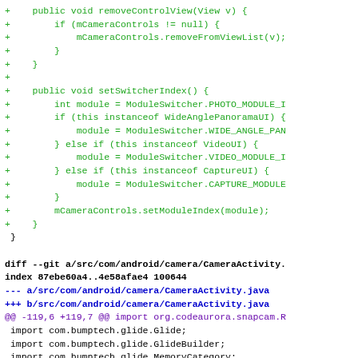diff code snippet showing additions to removeControlView and setSwitcherIndex methods, followed by a git diff header for CameraActivity.java with import statements
[Figure (screenshot): Git diff code showing Java source additions including removeControlView method, setSwitcherIndex method, and import statements for CameraActivity.java]